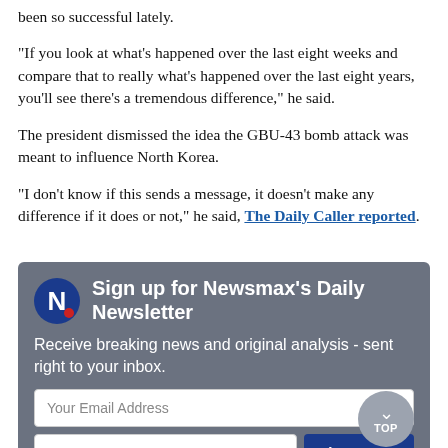been so successful lately.
"If you look at what's happened over the last eight weeks and compare that to really what's happened over the last eight years, you'll see there's a tremendous difference," he said.
The president dismissed the idea the GBU-43 bomb attack was meant to influence North Korea.
"I don't know if this sends a message, it doesn't make any difference if it does or not," he said, The Daily Caller reported.
[Figure (screenshot): Newsmax newsletter signup box with logo, title 'Sign up for Newsmax's Daily Newsletter', subtitle 'Receive breaking news and original analysis - sent right to your inbox.', email input field, zip code input, and Sign Me Up button]